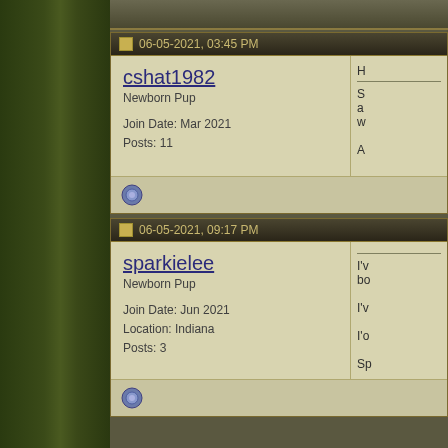cshat1982 | Newborn Pup | Join Date: Mar 2021 | Posts: 11 | 06-05-2021, 03:45 PM
sparkielee | Newborn Pup | Join Date: Jun 2021 | Location: Indiana | Posts: 3 | 06-05-2021, 09:17 PM